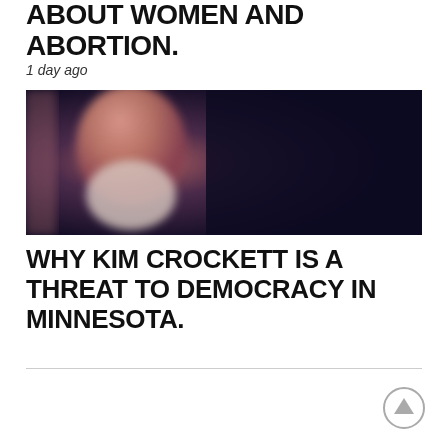ABOUT WOMEN AND ABORTION.
1 day ago
[Figure (photo): Blurred photo of a person speaking at a podium against a dark background]
WHY KIM CROCKETT IS A THREAT TO DEMOCRACY IN MINNESOTA.